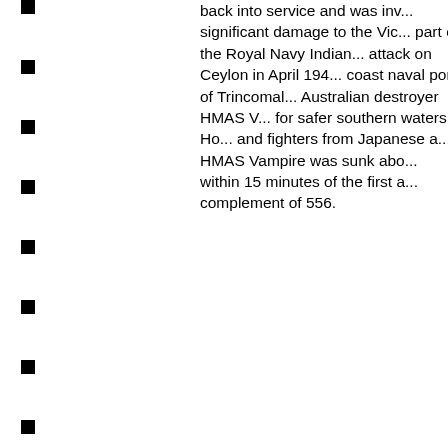back into service and was inv... significant damage to the Vic... part of the Royal Navy Indian... attack on Ceylon in April 194... coast naval port of Trincomal... Australian destroyer HMAS V... for safer southern waters. Ho... and fighters from Japanese a... HMAS Vampire was sunk abo... within 15 minutes of the first a... complement of 556.
■
■
■
■
■
■
■
■
■
■